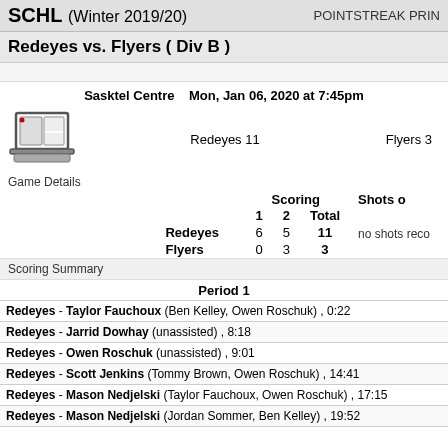SCHL (Winter 2019/20)   POINTSTREAK PRIN
Redeyes vs. Flyers ( Div B )
Sasktel Centre   Mon, Jan 06, 2020 at 7:45pm
Redeyes 11   Flyers 3
Game Details
|  | 1 | 2 | Total |
| --- | --- | --- | --- |
| Redeyes | 6 | 5 | 11 |
| Flyers | 0 | 3 | 3 |
Scoring Summary
Period 1
Redeyes - Taylor Fauchoux (Ben Kelley, Owen Roschuk) , 0:22
Redeyes - Jarrid Dowhay (unassisted) , 8:18
Redeyes - Owen Roschuk (unassisted) , 9:01
Redeyes - Scott Jenkins (Tommy Brown, Owen Roschuk) , 14:41
Redeyes - Mason Nedjelski (Taylor Fauchoux, Owen Roschuk) , 17:15
Redeyes - Mason Nedjelski (Jordan Sommer, Ben Kelley) , 19:52